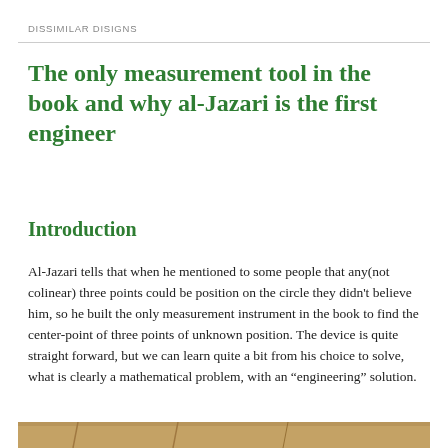DISSIMILAR DISIGNS
The only measurement tool in the book and why al-Jazari is the first engineer
Introduction
Al-Jazari tells that when he mentioned to some people that any(not colinear) three points could be position on the circle they didn't believe him, so he built the only measurement instrument in the book to find the center-point of three points of unknown position. The device is quite straight forward, but we can learn quite a bit from his choice to solve, what is clearly a mathematical problem, with an “engineering” solution.
[Figure (photo): Bottom edge of a historical illustration or manuscript image, partially visible]